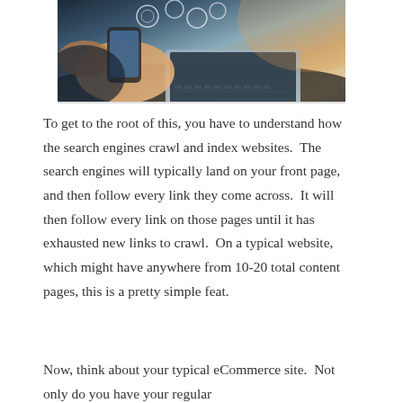[Figure (photo): Photo of hands holding a smartphone with digital icons floating above it, with a laptop keyboard visible in the background, warm and cool toned lighting]
To get to the root of this, you have to understand how the search engines crawl and index websites.  The search engines will typically land on your front page, and then follow every link they come across.  It will then follow every link on those pages until it has exhausted new links to crawl.  On a typical website, which might have anywhere from 10-20 total content pages, this is a pretty simple feat.
Now, think about your typical eCommerce site.  Not only do you have your regular